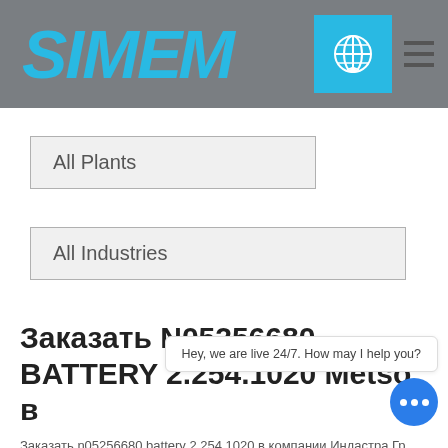[Figure (logo): SIMEM logo in blue italic bold text on gray background header with globe icon button and hamburger menu]
All Plants
All Industries
Заказать N05256680 BATTERY 2.254.1020 Metso в
Заказать n05256680 battery 2.254.1020 в компании Индастра Гр. Оригинал / Аналоги. Подбор запчастей до всего мира. Гарантия до